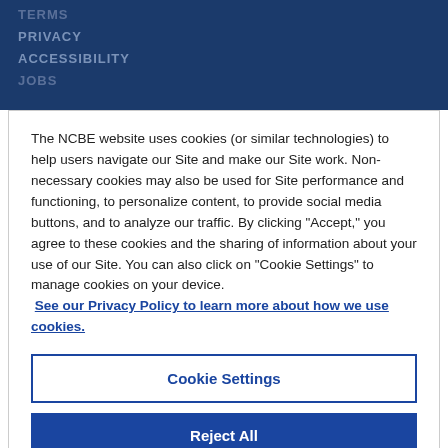TERMS
PRIVACY
ACCESSIBILITY
JOBS
The NCBE website uses cookies (or similar technologies) to help users navigate our Site and make our Site work. Non-necessary cookies may also be used for Site performance and functioning, to personalize content, to provide social media buttons, and to analyze our traffic. By clicking "Accept," you agree to these cookies and the sharing of information about your use of our Site. You can also click on "Cookie Settings" to manage cookies on your device.
 See our Privacy Policy to learn more about how we use cookies.
Cookie Settings
Reject All
Accept